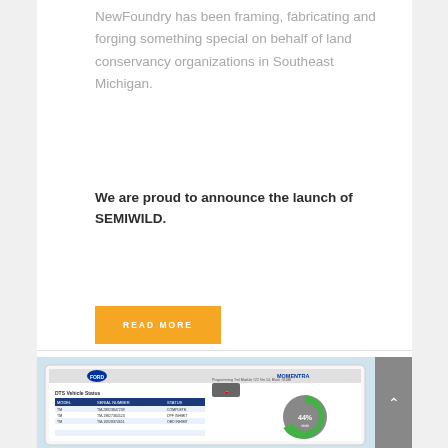NewFoundry has been framing, fabricating and forging something special on behalf of land conservancy organizations in Southeast Michigan.
We are proud to announce the launch of SEMIWILD.
READ MORE
[Figure (screenshot): Tablet showing a Ford DTS Vehicle Status dashboard with Momentra branding, featuring a donut chart showing 44% and a data table with vehicle information.]